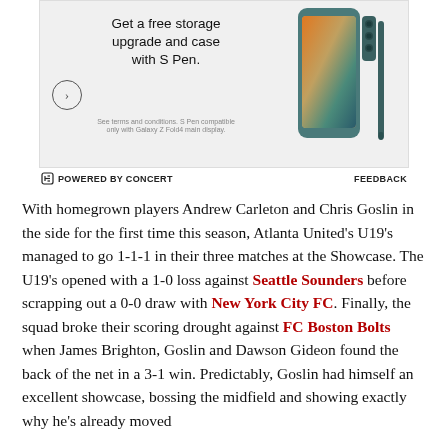[Figure (photo): Advertisement for Samsung Galaxy Z Fold4 with text 'Get a free storage upgrade and case with S Pen.' and an image of the phone with S Pen.]
POWERED BY CONCERT   FEEDBACK
With homegrown players Andrew Carleton and Chris Goslin in the side for the first time this season, Atlanta United's U19's managed to go 1-1-1 in their three matches at the Showcase. The U19's opened with a 1-0 loss against Seattle Sounders before scrapping out a 0-0 draw with New York City FC. Finally, the squad broke their scoring drought against FC Boston Bolts when James Brighton, Goslin and Dawson Gideon found the back of the net in a 3-1 win. Predictably, Goslin had himself an excellent showcase, bossing the midfield and showing exactly why he's already moved